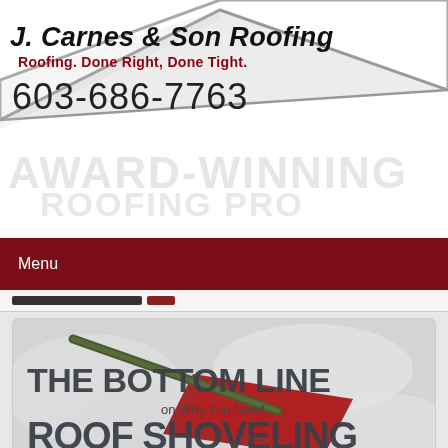[Figure (logo): J. Carnes & Son Roofing company logo with roof graphic, tagline and phone number]
Menu
[Figure (photo): Promotional image with text THE BOTTOM LINE on Why You Need ROOF SHOVELING, showing a red snow shovel in snow]
[Figure (photo): Partial image showing Where Should Snow BE REMOVED text on dark red background]